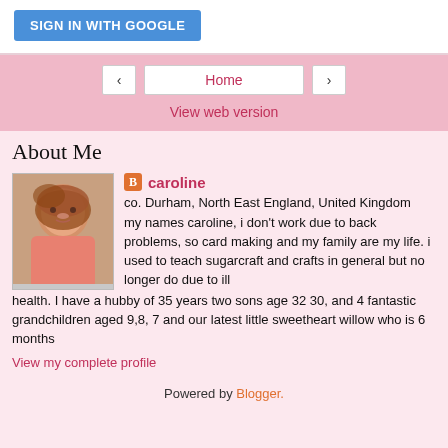[Figure (screenshot): Sign in with Google button on white background]
[Figure (screenshot): Navigation bar with left arrow, Home button, right arrow, and View web version link on pink background]
About Me
[Figure (photo): Profile photo of caroline, a woman with reddish-brown hair wearing a pink top]
caroline
co. Durham, North East England, United Kingdom
my names caroline, i don't work due to back problems, so card making and my family are my life. i used to teach sugarcraft and crafts in general but no longer do due to ill health. I have a hubby of 35 years two sons age 32 30, and 4 fantastic grandchildren aged 9,8, 7 and our latest little sweetheart willow who is 6 months
View my complete profile
Powered by Blogger.